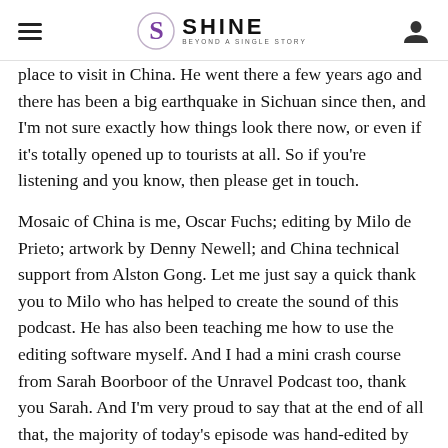SHINE BEYOND A SINGLE STORY
place to visit in China. He went there a few years ago and there has been a big earthquake in Sichuan since then, and I'm not sure exactly how things look there now, or even if it's totally opened up to tourists at all. So if you're listening and you know, then please get in touch.
Mosaic of China is me, Oscar Fuchs; editing by Milo de Prieto; artwork by Denny Newell; and China technical support from Alston Gong. Let me just say a quick thank you to Milo who has helped to create the sound of this podcast. He has also been teaching me how to use the editing software myself. And I had a mini crash course from Sarah Boorboor of the Unravel Podcast too, thank you Sarah. And I'm very proud to say that at the end of all that, the majority of today's episode was hand-edited by me. Milo will continue to be offering editing support, I'm